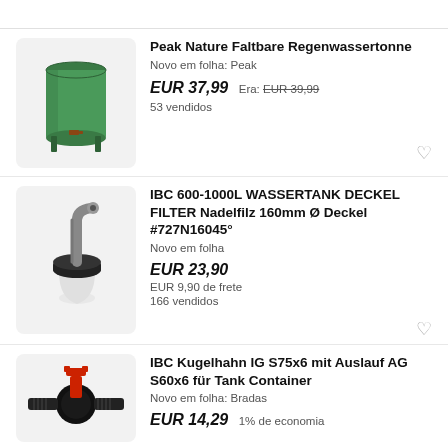[Figure (photo): Green foldable rain barrel tank (Peak Nature Faltbare Regenwassertonne) — cylindrical green container with legs]
Peak Nature Faltbare Regenwassertonne
Novo em folha: Peak
EUR 37,99  Era: EUR 39,99
53 vendidos
[Figure (photo): IBC tank lid filter — grey angled pipe fitting with black collar and white fabric filter bag]
IBC 600-1000L WASSERTANK DECKEL FILTER Nadelfilz 160mm Ø Deckel #727N16045°
Novo em folha
EUR 23,90
EUR 9,90 de frete
166 vendidos
[Figure (photo): IBC ball valve (Kugelhahn) IG S75x6 mit Auslauf AG S60x6 — black valve with red lever handle]
IBC Kugelhahn IG S75x6 mit Auslauf AG S60x6 für Tank Container
Novo em folha: Bradas
EUR 14,29  1% de economia